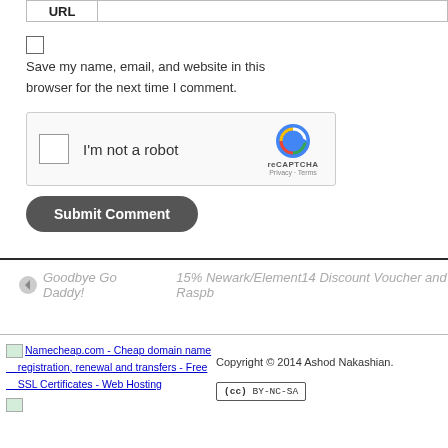[Figure (screenshot): URL input field with 'URL' label button on the left and an empty text input field on the right, with a border.]
[Figure (screenshot): Unchecked checkbox for saving name/email/website.]
Save my name, email, and website in this browser for the next time I comment.
[Figure (screenshot): reCAPTCHA widget with checkbox, 'I'm not a robot' text, reCAPTCHA logo, Privacy and Terms links.]
[Figure (screenshot): Submit Comment button, dark rounded rectangle.]
Goodbye Go Daddy!
15% Newark/Element14 Discount Voucher and Raspb
[Figure (screenshot): Namecheap.com banner image link - Cheap domain name registration, renewal and transfers - Free SSL Certificates - Web Hosting]
Copyright © 2014 Ashod Nakashian.
[Figure (logo): Creative Commons BY-NC-SA license badge]